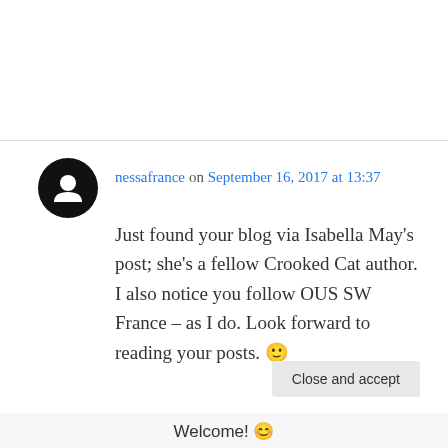nessafrance on September 16, 2017 at 13:37
Just found your blog via Isabella May's post; she's a fellow Crooked Cat author. I also notice you follow OUS SW France – as I do. Look forward to reading your posts. 🙂
Liked by 1 person
Log in to Reply
Privacy & Cookies: This site uses cookies. By continuing to use this website, you agree to their use.
To find out more, including how to control cookies, see here: Cookie Policy
Close and accept
Welcome! 😊